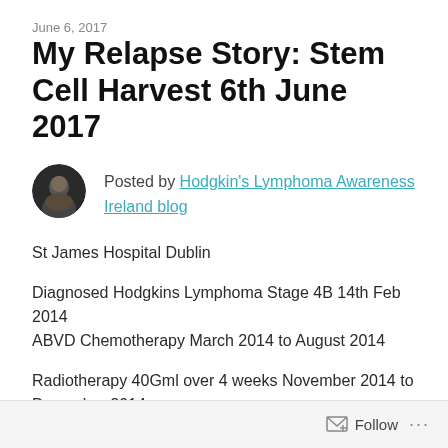June 6, 2017
My Relapse Story: Stem Cell Harvest 6th June 2017
Posted by Hodgkin's Lymphoma Awareness Ireland blog
St James Hospital Dublin
Diagnosed Hodgkins Lymphoma Stage 4B 14th Feb 2014
ABVD Chemotherapy March 2014 to August 2014
Radiotherapy 40Gml over 4 weeks November 2014 to December 2014
Follow ...